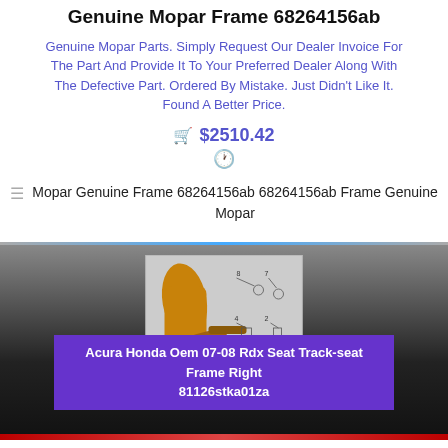Genuine Mopar Frame 68264156ab
Genuine Mopar Parts. Simply Request Our Dealer Invoice For The Part And Provide It To Your Preferred Dealer Along With The Defective Part. Ordered By Mistake. Just Didn't Like It. Found A Better Price.
$2510.42
Mopar Genuine Frame 68264156ab 68264156ab Frame Genuine Mopar
[Figure (photo): Product photo of a car seat track/frame part, shown with diagram callouts for an Acura Honda seat component]
Acura Honda Oem 07-08 Rdx Seat Track-seat Frame Right 81126stka01za